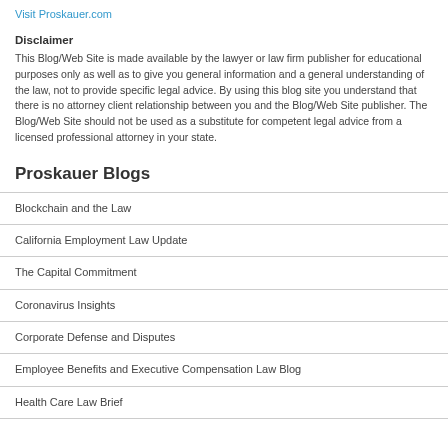Visit Proskauer.com
Disclaimer
This Blog/Web Site is made available by the lawyer or law firm publisher for educational purposes only as well as to give you general information and a general understanding of the law, not to provide specific legal advice. By using this blog site you understand that there is no attorney client relationship between you and the Blog/Web Site publisher. The Blog/Web Site should not be used as a substitute for competent legal advice from a licensed professional attorney in your state.
Proskauer Blogs
Blockchain and the Law
California Employment Law Update
The Capital Commitment
Coronavirus Insights
Corporate Defense and Disputes
Employee Benefits and Executive Compensation Law Blog
Health Care Law Brief